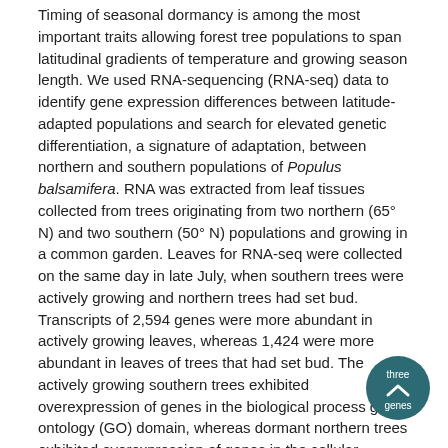Timing of seasonal dormancy is among the most important traits allowing forest tree populations to span latitudinal gradients of temperature and growing season length. We used RNA-sequencing (RNA-seq) data to identify gene expression differences between latitude-adapted populations and search for elevated genetic differentiation, a signature of adaptation, between northern and southern populations of Populus balsamifera. RNA was extracted from leaf tissues collected from trees originating from two northern (65° N) and two southern (50° N) populations and growing in a common garden. Leaves for RNA-seq were collected on the same day in late July, when southern trees were actively growing and northern trees had set bud. Transcripts of 2,594 genes were more abundant in actively growing leaves, whereas 1,424 were more abundant in leaves of trees that had set bud. The actively growing southern trees exhibited overexpression of genes in the biological process gene ontology (GO) domain, whereas dormant northern trees exhibited overexpression of genes in the cellular component domain. We identified relatively few genes (641) bearing signatures consistent with local adaptation to latitude for three or more SNPs. Exons from differentially expressed (DE) genes were not more likely than non-DE genes to exhibit patterns of latitudinal differentiation consistent with local adaptation. These